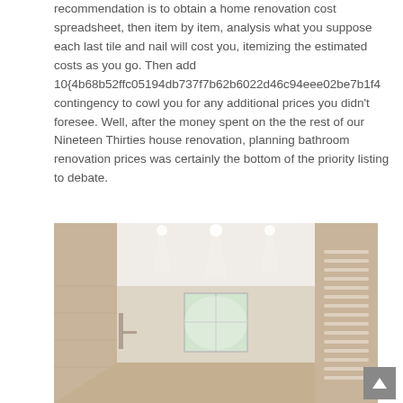recommendation is to obtain a home renovation cost spreadsheet, then item by item, analysis what you suppose each last tile and nail will cost you, itemizing the estimated costs as you go. Then add 10{4b68b52ffc05194db737f7b62b6022d46c94eee02be7b1f4 contingency to cowl you for any additional prices you didn't foresee. Well, after the money spent on the the rest of our Nineteen Thirties house renovation, planning bathroom renovation prices was certainly the bottom of the priority listing to debate.
[Figure (photo): Interior photo of a modern bathroom with beige/cream tiled walls, white ceiling with recessed lighting, a window at the far end with natural light, and a decorative horizontal slatted radiator on the right wall.]